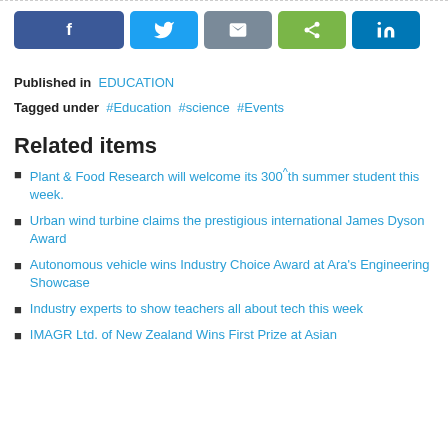[Figure (other): Social share buttons: Facebook, Twitter, Email, Share, LinkedIn]
Published in  EDUCATION
Tagged under  #Education  #science  #Events
Related items
Plant & Food Research will welcome its 300^th summer student this week.
Urban wind turbine claims the prestigious international James Dyson Award
Autonomous vehicle wins Industry Choice Award at Ara's Engineering Showcase
Industry experts to show teachers all about tech this week
IMAGR Ltd. of New Zealand Wins First Prize at Asian